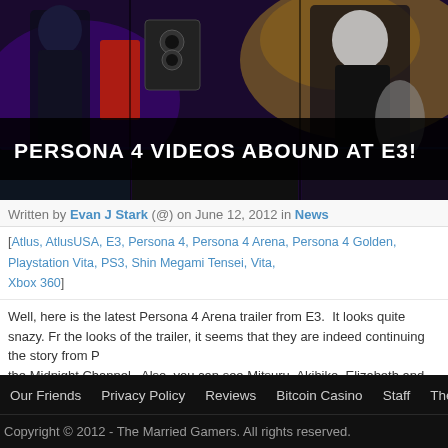[Figure (illustration): Anime-style illustration of Persona 4 characters with colorful background. Title overlay reads 'PERSONA 4 VIDEOS ABOUND AT E3!']
PERSONA 4 VIDEOS ABOUND AT E3!
Written by Evan J Stark (@) on June 12, 2012 in News
[Atlus, AtlusUSA, E3, Persona 4, Persona 4 Arena, Persona 4 Golden, Playstation Vita, PS3, Shin Megami Tensei, Vita, Xbox 360]
Well, here is the latest Persona 4 Arena trailer from E3. It looks quite snazy. From the looks of the trailer, it seems that they are indeed continuing the story from P the Midnight Channel. Also, you can see Mitsuru, Akihiko, Elizabeth and one o is the… Read More »
Our Friends   Privacy Policy   Reviews   Bitcoin Casino   Staff   The Married
Copyright © 2012 - The Married Gamers. All rights reserved.